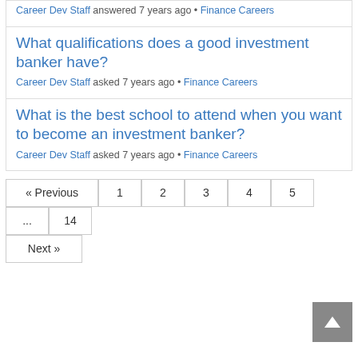Career Dev Staff answered 7 years ago • Finance Careers
What qualifications does a good investment banker have?
Career Dev Staff asked 7 years ago • Finance Careers
What is the best school to attend when you want to become an investment banker?
Career Dev Staff asked 7 years ago • Finance Careers
« Previous 1 2 3 4 5 ... 14 Next »